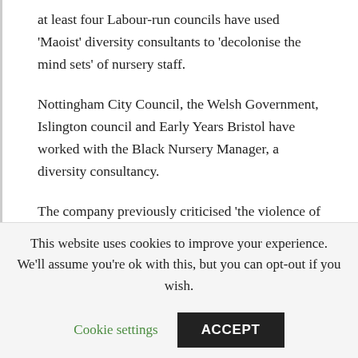at least four Labour-run councils have used ‘Maoist’ diversity consultants to ‘decolonise the mind sets’ of nursery staff.
Nottingham City Council, the Welsh Government, Islington council and Early Years Bristol have worked with the Black Nursery Manager, a diversity consultancy.
The company previously criticised ‘the violence of whiteness’ and called the Government an ‘agent of white supremacy’.
This website uses cookies to improve your experience. We’ll assume you’re ok with this, but you can opt-out if you wish.